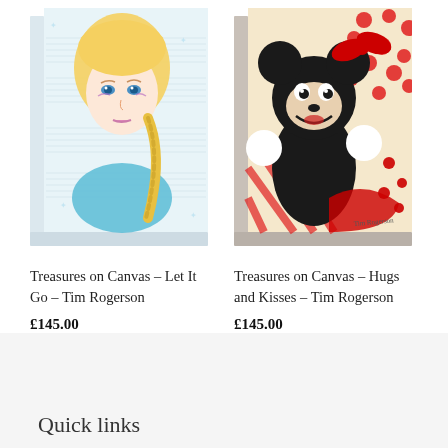[Figure (illustration): Canvas print of Elsa from Frozen with watercolor style, sheet music background, and textured canvas wrap sides]
[Figure (illustration): Canvas print of Mickey and Minnie Mouse hugging with red and white polka dot and striped background, retro style]
Treasures on Canvas – Let It Go – Tim Rogerson
£145.00
Treasures on Canvas – Hugs and Kisses – Tim Rogerson
£145.00
Quick links